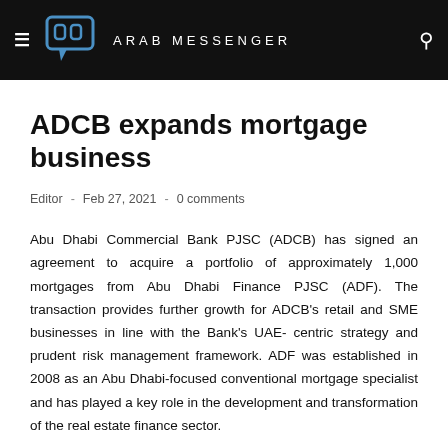ARAB MESSENGER
ADCB expands mortgage business
Editor - Feb 27, 2021 - 0 comments
Abu Dhabi Commercial Bank PJSC (ADCB) has signed an agreement to acquire a portfolio of approximately 1,000 mortgages from Abu Dhabi Finance PJSC (ADF). The transaction provides further growth for ADCB's retail and SME businesses in line with the Bank's UAE-centric strategy and prudent risk management framework. ADF was established in 2008 as an Abu Dhabi-focused conventional mortgage specialist and has played a key role in the development and transformation of the real estate finance sector.